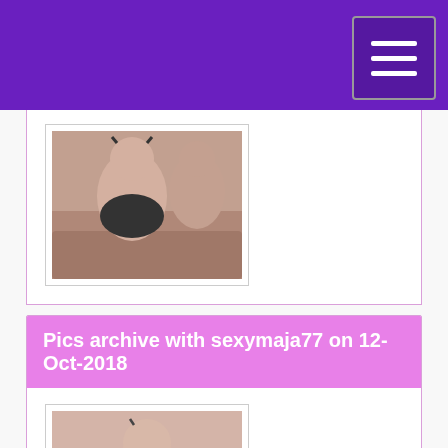[Figure (photo): Thumbnail photo of a couple on a sofa - polaroid style]
Pics archive with sexymaja77 on 12-Oct-2018
[Figure (photo): Thumbnail photo of a young woman on sofa - polaroid style]
Pics archive with sexymaja77 on 11-Oct-2018
[Figure (photo): Two loading placeholder thumbnails]